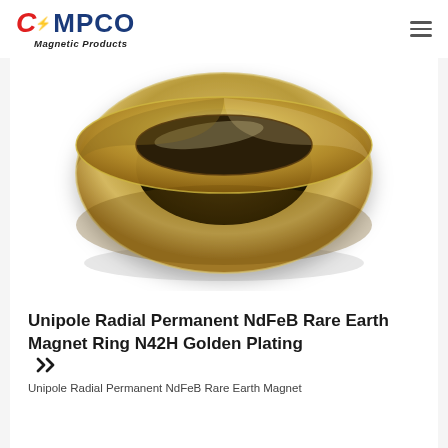CMPCO Magnetic Products
[Figure (photo): A golden-plated ring-shaped NdFeB rare earth magnet with a wide flat band, viewed from a slightly elevated angle showing the top and outer surface. The ring has a shiny gold/brass colored metallic finish.]
Unipole Radial Permanent NdFeB Rare Earth Magnet Ring N42H Golden Plating
Unipole Radial Permanent NdFeB Rare Earth Magnet